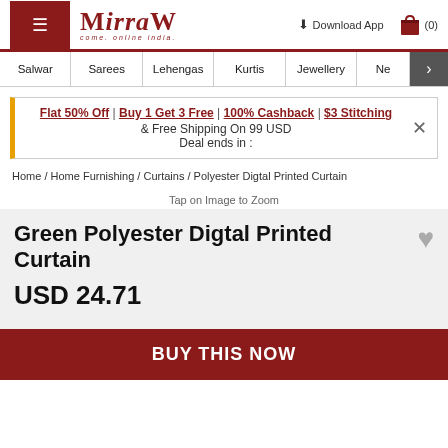MIRRAW — Download App (0)
Salwar | Sarees | Lehengas | Kurtis | Jewellery | Ne >
Flat 50% Off | Buy 1 Get 3 Free | 100% Cashback | $3 Stitching & Free Shipping On 99 USD Deal ends in :
Home / Home Furnishing / Curtains / Polyester Digtal Printed Curtain
Tap on Image to Zoom
Green Polyester Digtal Printed Curtain
USD 24.71
BUY THIS NOW